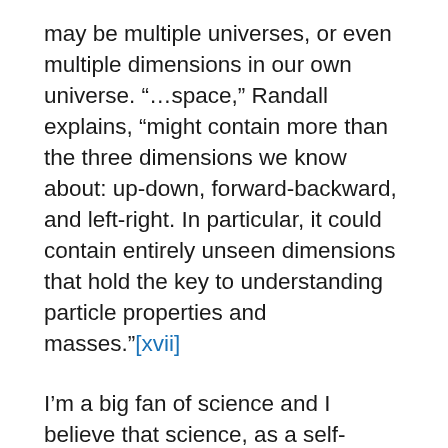may be multiple universes, or even multiple dimensions in our own universe. "…space," Randall explains, "might contain more than the three dimensions we know about: up-down, forward-backward, and left-right. In particular, it could contain entirely unseen dimensions that hold the key to understanding particle properties and masses."[xvii]
I'm a big fan of science and I believe that science, as a self-correcting discipline, is moving closer to truths about how the diversity of life developed on Earth, and how our planet and perhaps the universe was formed. As a human institution, scientific explorations have, at times, stumbled,